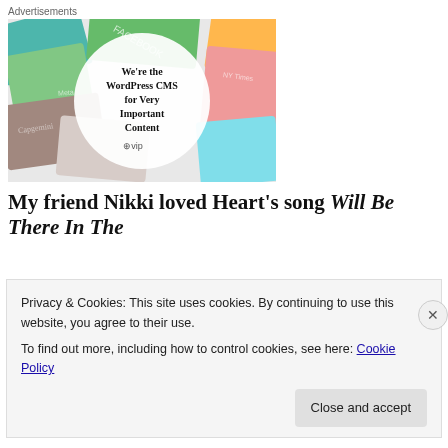Advertisements
[Figure (illustration): WordPress VIP advertisement showing colorful business cards and magazines in the background with a white circle in the center containing bold text: We're the WordPress CMS for Very Important Content, with a WordPress VIP logo below.]
My friend Nikki loved Heart's song Will Be There In The
Privacy & Cookies: This site uses cookies. By continuing to use this website, you agree to their use.
To find out more, including how to control cookies, see here: Cookie Policy
Close and accept